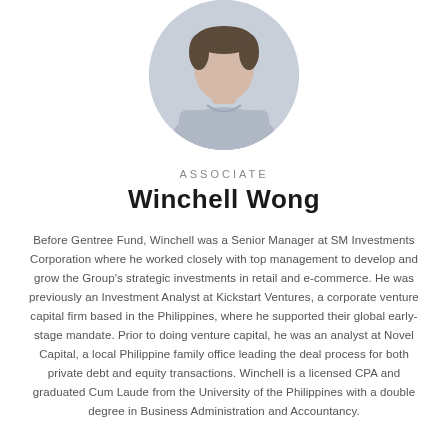[Figure (photo): Circular portrait photo of Winchell Wong wearing a light blue shirt, cropped at the top of the page]
ASSOCIATE
Winchell Wong
Before Gentree Fund, Winchell was a Senior Manager at SM Investments Corporation where he worked closely with top management to develop and grow the Group's strategic investments in retail and e-commerce. He was previously an Investment Analyst at Kickstart Ventures, a corporate venture capital firm based in the Philippines, where he supported their global early-stage mandate. Prior to doing venture capital, he was an analyst at Novel Capital, a local Philippine family office leading the deal process for both private debt and equity transactions. Winchell is a licensed CPA and graduated Cum Laude from the University of the Philippines with a double degree in Business Administration and Accountancy.